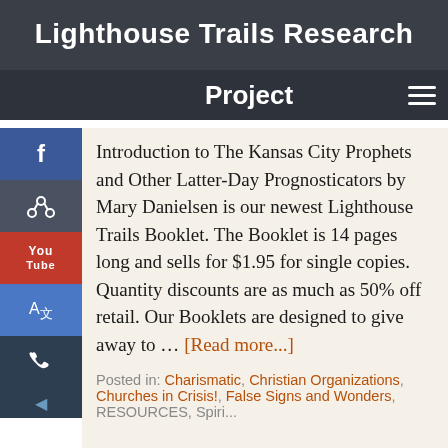Lighthouse Trails Research
Project
Introduction to The Kansas City Prophets and Other Latter-Day Prognosticators by Mary Danielsen is our newest Lighthouse Trails Booklet. The Booklet is 14 pages long and sells for $1.95 for single copies. Quantity discounts are as much as 50% off retail. Our Booklets are designed to give away to ... [Read more...]
Posted in: Charismatic, Christian Organizations, Churches in Crisis!, False Signs and Wonders, RESOURCES, Spiri...